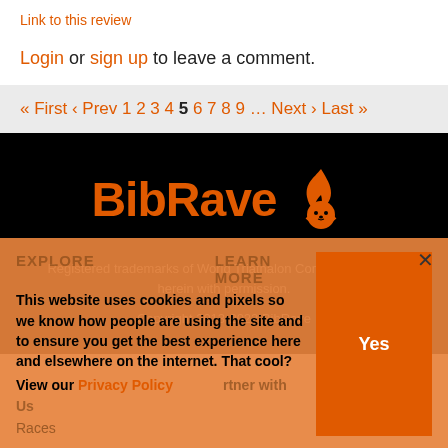Link to this review
Login or sign up to leave a comment.
« First ‹ Prev 1 2 3 4 5 6 7 8 9 … Next › Last »
[Figure (logo): BibRave logo with orange flame/lion icon on black background]
Registered trademarks of World Triathalon Corporation. Used herein with permission.
Copyright 2013-2022 BibRave
This website uses cookies and pixels so we know how people are using the site and to ensure you get the best experience here and elsewhere on the internet. That cool? View our Privacy Policy